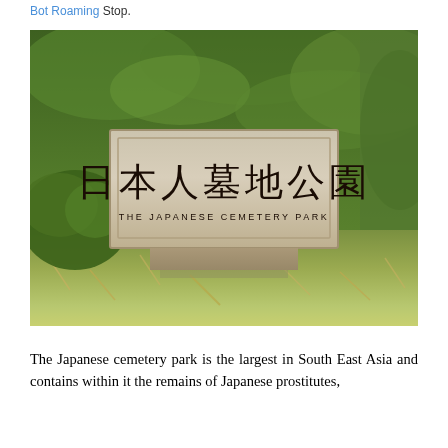Bot Roaming Stop.
[Figure (photo): Photograph of the entrance sign for The Japanese Cemetery Park (日本人墓地公園). A large stone monument sign with Japanese kanji characters and English text 'THE JAPANESE CEMETERY PARK', surrounded by green hedges and grass.]
The Japanese cemetery park is the largest in South East Asia and contains within it the remains of Japanese prostitutes,